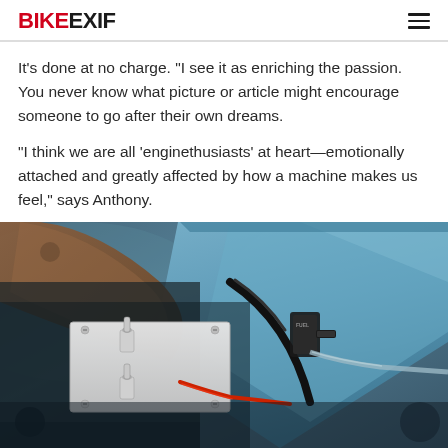BIKEEXIF
It's done at no charge. “I see it as enriching the passion. You never know what picture or article might encourage someone to go after their own dreams.
“I think we are all ‘enginethusiasts’ at heart—emotionally attached and greatly affected by how a machine makes us feel,” says Anthony.
[Figure (photo): Close-up photo of a custom motorcycle showing blue painted metal bodywork, toggle switches on a white panel, brown leather seat edge, red wiring, and a fuel petcock valve.]